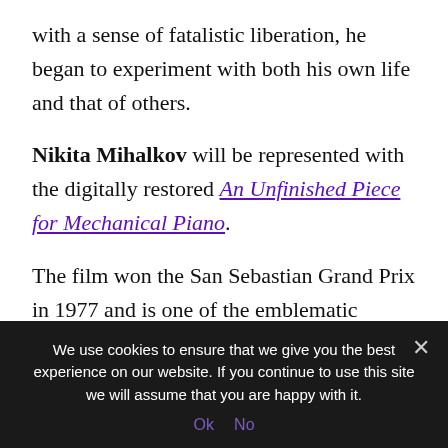with a sense of fatalistic liberation, he began to experiment with both his own life and that of others.
Nikita Mihalkov will be represented with the digitally restored An Unfinished Piece for Mechanical Piano.
The film won the San Sebastian Grand Prix in 1977 and is one of the emblematic works of Mikhalkov. The story takes viewers to the dawn of the twentieth
We use cookies to ensure that we give you the best experience on our website. If you continue to use this site we will assume that you are happy with it. Ok No